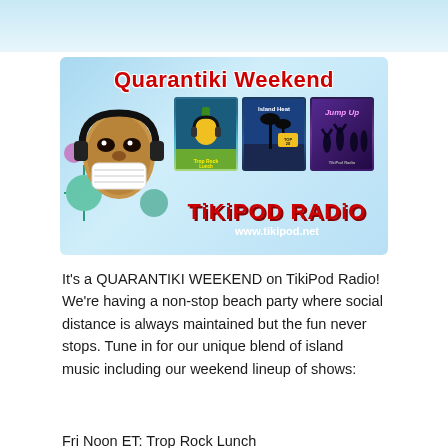[Figure (illustration): Quarantiki Weekend promotional banner for TikiPod Radio featuring a tiki mask with headphones and a face mask, show thumbnail images (Trop Rock Lunch, Island Heat, Jump Up), and the TikiPod Radio logo with website www.tikipod.net on a light blue gradient background.]
It's a QUARANTIKI WEEKEND on TikiPod Radio! We're having a non-stop beach party where social distance is always maintained but the fun never stops. Tune in for our unique blend of island music including our weekend lineup of shows:
Fri Noon ET: Trop Rock Lunch